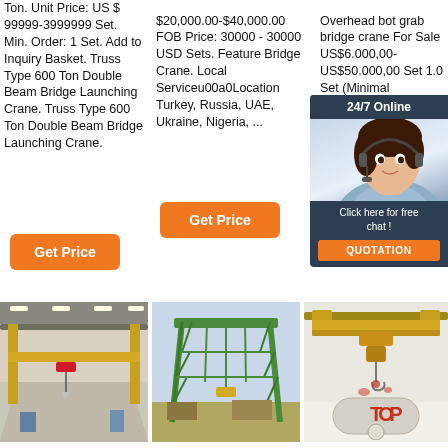Ton. Unit Price: US $ 99999-3999999 Set. Min. Order: 1 Set. Add to Inquiry Basket. Truss Type 600 Ton Double Beam Bridge Launching Crane. Truss Type 600 Ton Double Beam Bridge Launching Crane.
$20,000.00-$40,000.00 FOB Price: 30000 - 30000 USD Sets. Feature Bridge Crane. Local Serviceu00a0Location Turkey, Russia, UAE, Ukraine, Nigeria, ...
Overhead bot grab bridge crane For Sale US$6.000,00-US$50.000,00 Set 1.0 Set (Minimal Pesanan)
[Figure (screenshot): 24/7 Online chat popup with female customer service agent photo, 'Click here for free chat!' text, and orange QUOTATION button]
[Figure (photo): Indoor warehouse with yellow single girder overhead bridge crane]
[Figure (photo): Large green gantry crane outdoors with steel truss structure]
[Figure (photo): Yellow overhead double girder bridge crane with hoist, TOP button overlay]